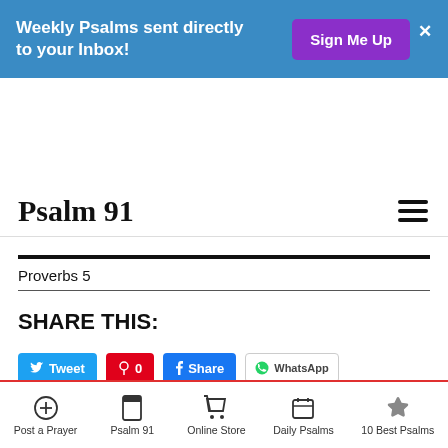Weekly Psalms sent directly to your Inbox! Sign Me Up
Psalm 91
Proverbs 5
SHARE THIS:
Post a Prayer | Psalm 91 | Online Store | Daily Psalms | 10 Best Psalms